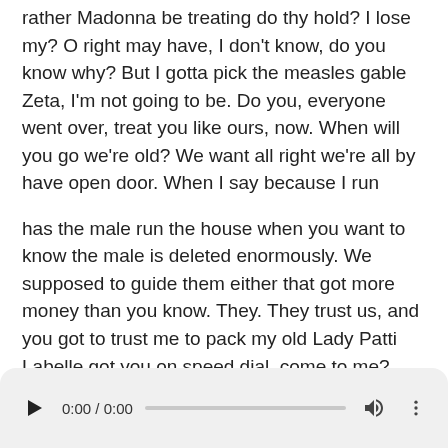rather Madonna be treating do thy hold? I lose my? O right may have, I don't know, do you know why? But I gotta pick the measles gable Zeta, I'm not going to be. Do you, everyone went over, treat you like ours, now. When will you go we're old? We want all right we're all by have open door. When I say because I run
has the male run the house when you want to know the male is deleted enormously. We supposed to guide them either that got more money than you know. They. They trust us, and you got to trust me to pack my old Lady Patti Labelle got you on speed dial, come to me? You know not aroma renown. You know we save up here the bit me I like TAT, you like. Do you hear me like that master, I tell you got, had it been dug up agreement with my grandma lab in the
[Figure (other): Audio player bar with play button, time display showing 0:00 / 0:00, progress bar, volume icon, and more options icon]